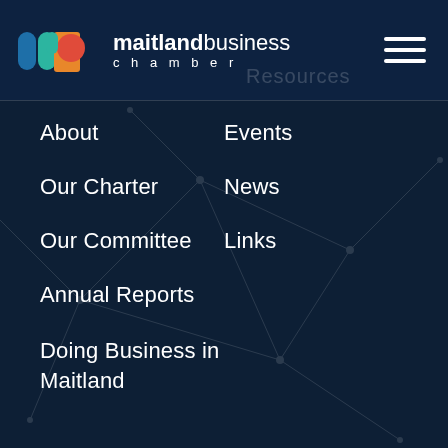[Figure (logo): Maitland Business Chamber logo with colorful geometric icon (blue, green, orange, red shapes) and text 'maitlandbusiness chamber']
About
Our Charter
Our Committee
Annual Reports
Doing Business in Maitland
Events
News
Links